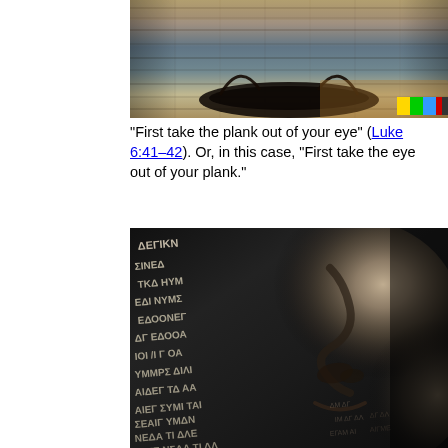[Figure (photo): Photo of wooden planks with a dark flame/eye-like burn mark at the bottom center, and a small color calibration bar in the bottom right corner]
“First take the plank out of your eye” (Luke 6:41–42). Or, in this case, “First take the eye out of your plank.”
[Figure (photo): Black and white photo of a sculpted or stone face in close-up (nose and cheek visible) with carved or stamped foreign script text covering the left portion of the image]